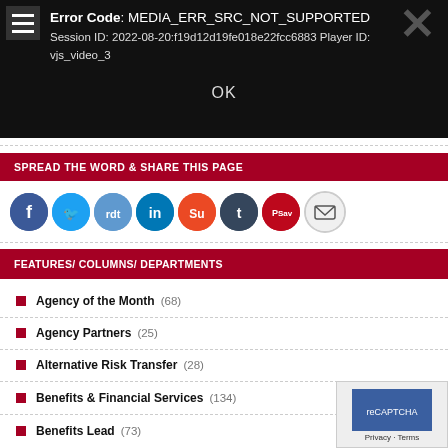[Figure (screenshot): Video player error screen showing black background with error code MEDIA_ERR_SRC_NOT_SUPPORTED, session ID, player ID, and OK button]
SPREAD THE WORD & SHARE THIS PAGE
[Figure (infographic): Social media sharing icons: Facebook, Twitter, Reddit, LinkedIn, StumbleUpon, Tumblr, Pinterest Save, Email]
FEATURES/ COLUMNS/ DEPARTMENTS
Agency of the Month (68)
Agency Partners (25)
Alternative Risk Transfer (28)
Benefits & Financial Services (134)
Benefits Lead (73)